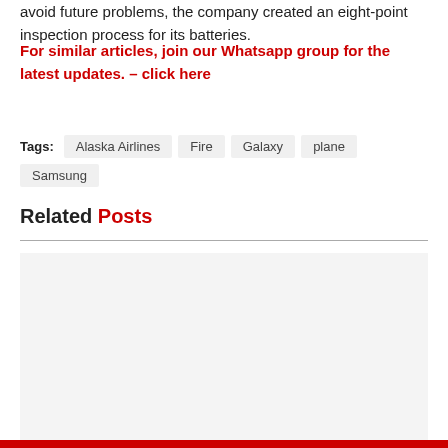avoid future problems, the company created an eight-point inspection process for its batteries.
For similar articles, join our Whatsapp group for the latest updates. – click here
Tags: Alaska Airlines  Fire  Galaxy  plane  Samsung
Related Posts
[Figure (photo): Gray placeholder image for a related post thumbnail]